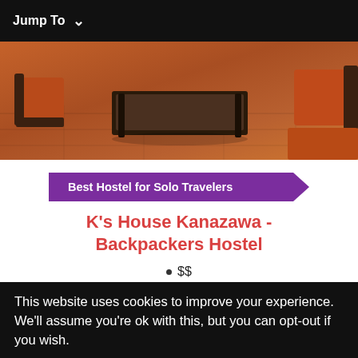Jump To ∨
[Figure (photo): Interior photo of a hostel lounge with orange/wood-toned furniture, a dark coffee table, and chairs on a wooden floor.]
Best Hostel for Solo Travelers
K's House Kanazawa - Backpackers Hostel
$$
Lounge
Bike Hire
This website uses cookies to improve your experience. We'll assume you're ok with this, but you can opt-out if you wish.